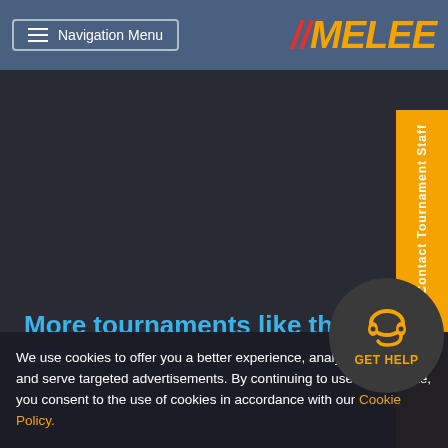Navigation Menu | MELEE
More tournaments like this one
No tournaments found
Standings
Swiss Phase
We use cookies to offer you a better experience, analyze site traffic, and serve targeted advertisements. By continuing to use this website, you consent to the use of cookies in accordance with our Cookie Policy.
[Figure (other): GET HELP button with headset icon]
[Figure (other): Contact Tournament Staff sidebar orange button with chat icon]